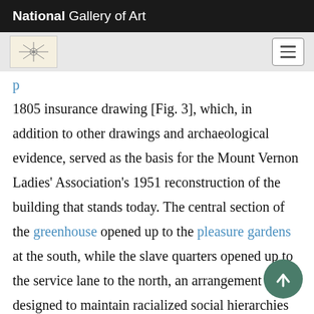National Gallery of Art
1805 insurance drawing [Fig. 3], which, in addition to other drawings and archaeological evidence, served as the basis for the Mount Vernon Ladies' Association's 1951 reconstruction of the building that stands today. The central section of the greenhouse opened up to the pleasure gardens at the south, while the slave quarters opened up to the service lane to the north, an arrangement designed to maintain racialized social hierarchies by controlling access to the landscape. The bowling green was reserved for the Washington family and their guests [Fig. 4], and Washington once instructed that enslaved children away from playing in the area.[13]